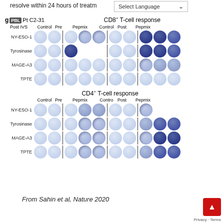resolve within 24 hours of treatm
[Figure (other): Select Language dropdown widget from browser translation toolbar]
[Figure (other): Scientific figure panel g showing ELISpot assay results for PBL Pt C2-31 Post IVS. Top half: CD8+ T-cell response grid with rows NY-ESO-1, Tyrosinase, MAGE-A3, TPTE and columns Control/Pre/Pepmix (Pre) and Control/Post/Pepmix (Post). Bottom half: CD4+ T-cell response grid with same antigens and columns. Wells show varying densities of spots representing immune responses.]
From Sahin et al, Nature 2020